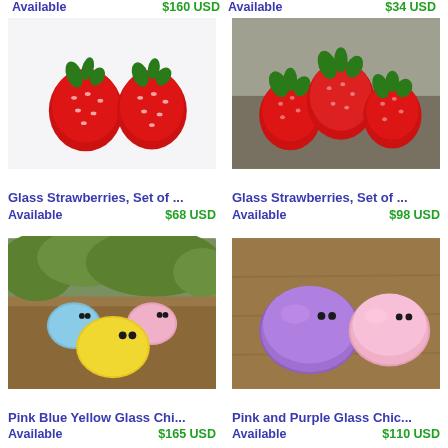Available   $160 USD   Available   $34 USD
[Figure (photo): Glass Strawberries, Set of ... - two red glass strawberries with green tops on white background]
Glass Strawberries, Set of ...
Available   $68 USD
[Figure (photo): Glass Strawberries, Set of ... - three red glass strawberries with green tops on stone background]
Glass Strawberries, Set of ...
Available   $98 USD
[Figure (photo): Pink Blue Yellow Glass Chi... - three round glass chick figurines (blue, pink, yellow) on wooden surface]
Pink Blue Yellow Glass Chi...
Available   $165 USD
[Figure (photo): Pink and Purple Glass Chic... - two round glass chick figurines (purple, pink) on wooden surface]
Pink and Purple Glass Chic...
Available   $110 USD
[Figure (photo): Partially visible product image at bottom left]
[Figure (photo): Partially visible product image at bottom right]